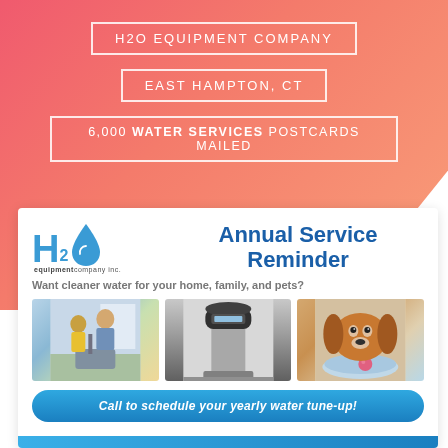H2O EQUIPMENT COMPANY
EAST HAMPTON, CT
6,000 WATER SERVICES POSTCARDS MAILED
[Figure (logo): H2O Equipment Company Inc. logo with water drop icon]
Annual Service Reminder
Want cleaner water for your home, family, and pets?
[Figure (photo): Three photos: family at kitchen sink, water softener equipment, dog drinking from bowl]
Call to schedule your yearly water tune-up!